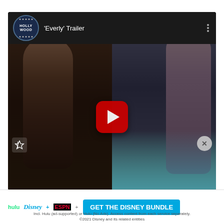[Figure (screenshot): YouTube embedded video player showing 'Everly' Trailer with Hollywood Reporter channel logo. Video thumbnail shows two women in dark cinematic scene. Red YouTube play button centered on thumbnail.]
[Figure (screenshot): Disney Bundle advertisement banner with Hulu, Disney+, and ESPN+ logos on left, blue 'GET THE DISNEY BUNDLE' CTA button on right, fine print below: 'Incl. Hulu (ad-supported) or Hulu (No Ads). Access content from each service separately. ©2021 Disney and its related entities']